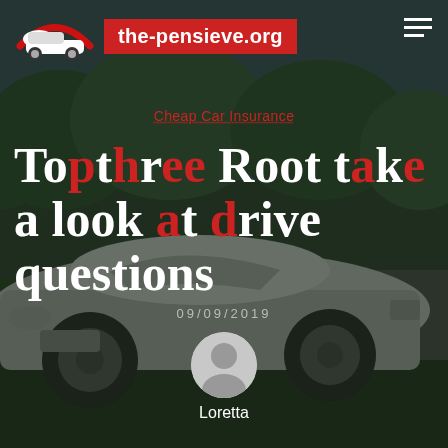[Figure (photo): Dark background image of a white Tesla electric car on a road with trees and grass in the background, overlaid with semi-transparent dark tint]
the-pensieve.org
Cheap Car Insurance
Top three Root take a look at drive questions
09/09/2019
Loretta